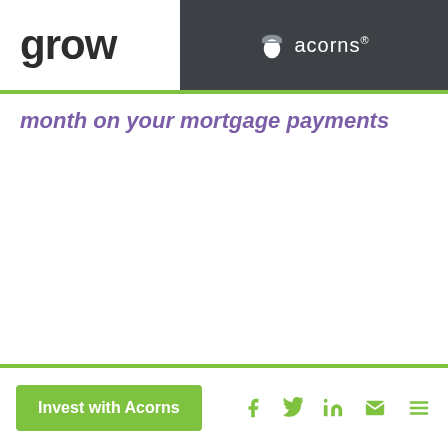grow | acorns®
month on your mortgage payments
Invest with Acorns